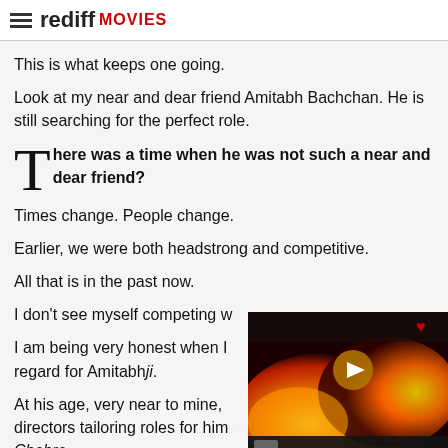rediff MOVIES
This is what keeps one going.
Look at my near and dear friend Amitabh Bachchan. He is still searching for the perfect role.
There was a time when he was not such a near and dear friend?
Times change. People change.
Earlier, we were both headstrong and competitive.
All that is in the past now.
I don't see myself competing w
I am being very honest when I regard for Amitabhji.
At his age, very near to mine, directors tailoring roles for him in films like Paa and Chehre.
[Figure (screenshot): Video overlay showing fire/flames footage with play button and news ticker bar]